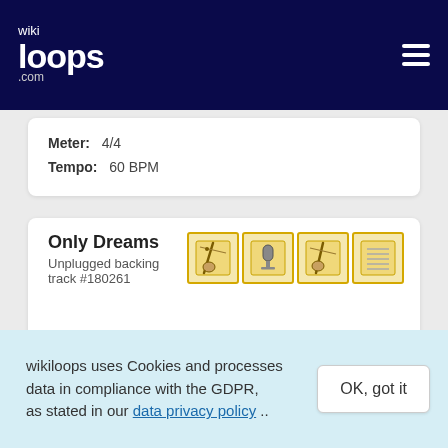wikiloops.com
Meter: 4/4
Tempo: 60 BPM
Only Dreams
Unplugged backing track #180261
Tempo: 90 BPM
Sounds like: Vocal, guitar, viola, unplugged
wikiloops uses Cookies and processes data in compliance with the GDPR, as stated in our data privacy policy ..